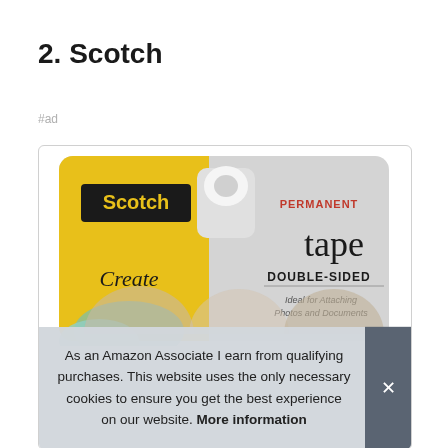2. Scotch
#ad
[Figure (photo): Scotch brand permanent double-sided tape product packaging in a blister card with yellow and gray design. Shows 'Scotch Create' branding with 'PERMANENT tape DOUBLE-SIDED - Ideal for Attaching Photos and Documents' text.]
As an Amazon Associate I earn from qualifying purchases. This website uses the only necessary cookies to ensure you get the best experience on our website. More information